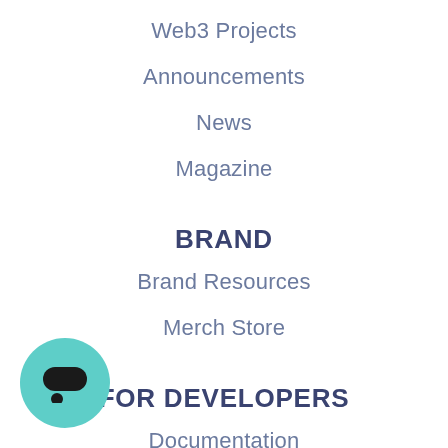Web3 Projects
Announcements
News
Magazine
BRAND
Brand Resources
Merch Store
FOR DEVELOPERS
Documentation
Join Discord
Cronos Gaming Hackathon HOT
Filecoin Hackathon HOT
[Figure (illustration): Teal circular chat bubble button in bottom-left corner]